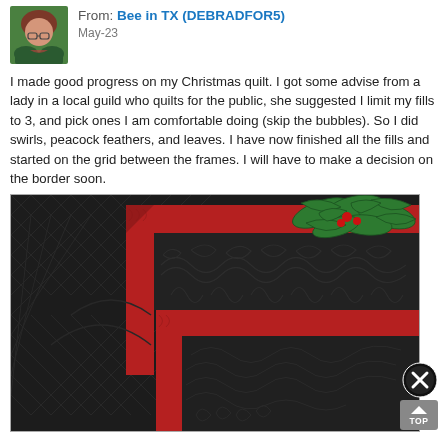From: Bee in TX (DEBRADFOR5) May-23
I made good progress on my Christmas quilt.  I got some advise from a lady in a local guild who quilts for the public, she suggested I limit my fills to 3, and pick ones I am comfortable doing (skip the bubbles).  So I did swirls, peacock feathers, and leaves.  I have now finished all the fills and started on the grid between the frames.  I will have to make a decision on the border soon.
[Figure (photo): Close-up photograph of a Christmas quilt showing dark charcoal/black fabric with quilted swirl and feather patterns, red fabric strips forming a mitered frame/border, and green holly leaves with red berries appliqué in the upper right corner. The quilting stitches are visible as darker patterns on the dark fabric.]